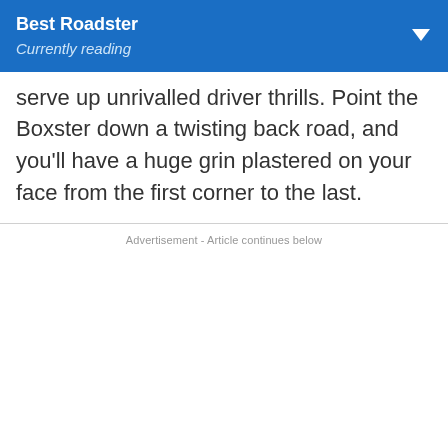Best Roadster
Currently reading
serve up unrivalled driver thrills. Point the Boxster down a twisting back road, and you’ll have a huge grin plastered on your face from the first corner to the last.
Advertisement - Article continues below